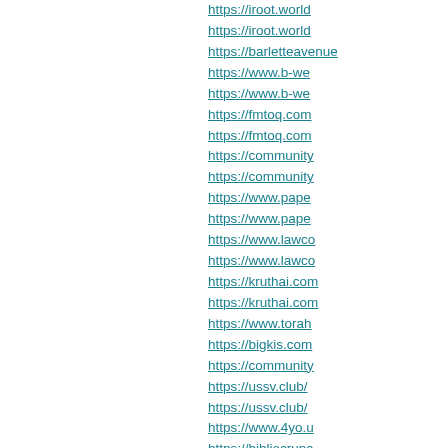https://iroot.world
https://iroot.world
https://barletteavenue
https://www.b-we
https://www.b-we
https://fmtoq.com
https://fmtoq.com
https://community
https://community
https://www.pape
https://www.pape
https://www.lawco
https://www.lawco
https://kruthai.com
https://kruthai.com
https://www.torah
https://bigkis.com
https://community
https://ussv.club/
https://ussv.club/
https://www.4yo.u
https://bibliocrunc
https://participons
https://bookme.na
https://imgfly.me/